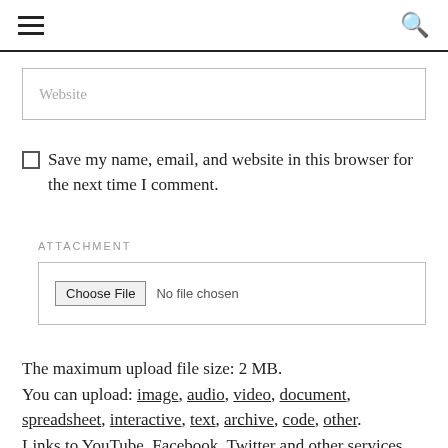≡  🔍
Website
Save my name, email, and website in this browser for the next time I comment.
ATTACHMENT
Choose File  No file chosen
The maximum upload file size: 2 MB.
You can upload: image, audio, video, document, spreadsheet, interactive, text, archive, code, other.
Links to YouTube, Facebook, Twitter and other services inserted in the comment text will be automatically embedded.